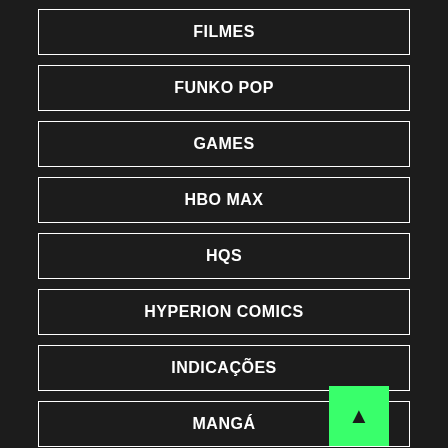FILMES
FUNKO POP
GAMES
HBO MAX
HQS
HYPERION COMICS
INDICAÇÕES
MANGÁ
MARVEL